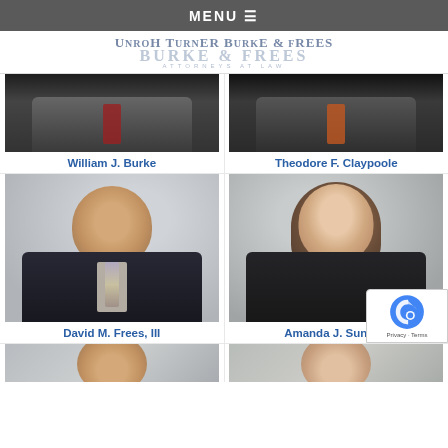MENU ☰
[Figure (logo): Unruh Turner Burke & Frees law firm logo with overlapping text layers]
[Figure (photo): Professional headshot of William J. Burke in dark suit with red tie]
William J. Burke
[Figure (photo): Professional headshot of Theodore F. Claypoole in dark suit with orange tie]
Theodore F. Claypoole
[Figure (photo): Professional headshot of David M. Frees III smiling in dark suit with patterned tie]
David M. Frees, III
[Figure (photo): Professional headshot of Amanda J. Sundquist smiling in dark blazer]
Amanda J. Sundqu...
[Figure (photo): Partial headshot at bottom left]
[Figure (photo): Partial headshot at bottom right]